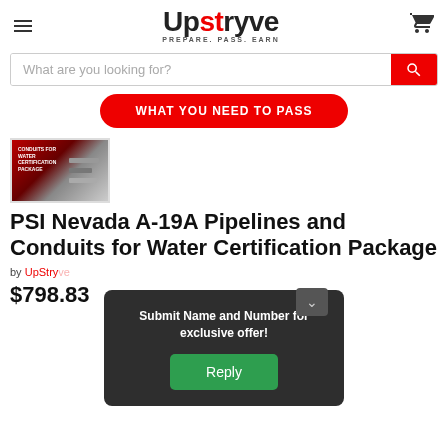Upstryve — PREPARE. PASS. EARN
[Figure (screenshot): Search bar with text 'What are you looking for?' and red search button]
WHAT YOU NEED TO PASS
[Figure (photo): Product thumbnail showing 'Conduits for Water Certification Package' book cover in red and grey]
PSI Nevada A-19A Pipelines and Conduits for Water Certification Package
by UpStryve
$798.83
Submit Name and Number for exclusive offer!